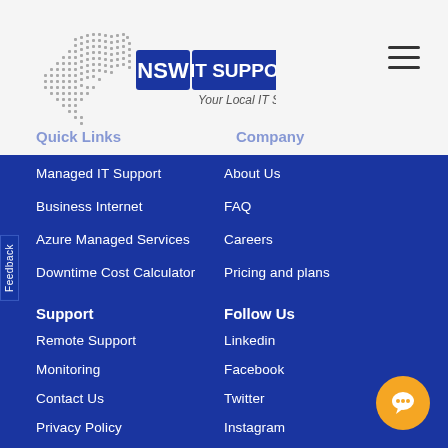[Figure (logo): NSW IT Support logo with dotted map of NSW, blue NSW text, blue IT SUPPORT banner, and tagline 'Your Local IT Specialist']
Managed IT Support
About Us
Business Internet
FAQ
Azure Managed Services
Careers
Downtime Cost Calculator
Pricing and plans
Support
Follow Us
Remote Support
Linkedin
Monitoring
Facebook
Contact Us
Twitter
Privacy Policy
Instagram